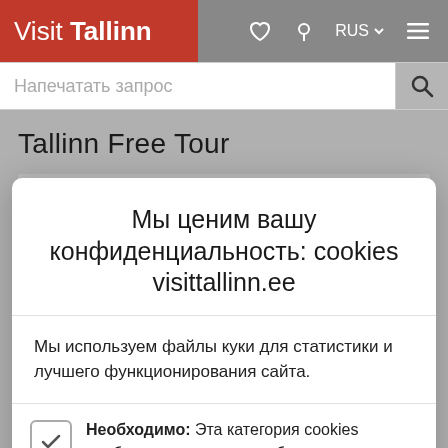Visit Tallinn
Tallinn Free Tour
Мы ценим вашу конфиденциальность: cookies visittallinn.ee
Мы используем файлы куки для статистики и лучшего функционирования сайта.
Необходимо: Эта категория cookies необходима для того, чтобы установить